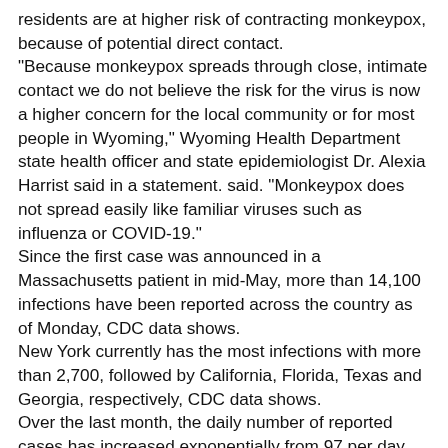residents are at higher risk of contracting monkeypox, because of potential direct contact. "Because monkeypox spreads through close, intimate contact we do not believe the risk for the virus is now a higher concern for the local community or for most people in Wyoming," Wyoming Health Department state health officer and state epidemiologist Dr. Alexia Harrist said in a statement. said. "Monkeypox does not spread easily like familiar viruses such as influenza or COVID-19." Since the first case was announced in a Massachusetts patient in mid-May, more than 14,100 infections have been reported across the country as of Monday, CDC data shows. New York currently has the most infections with more than 2,700, followed by California, Florida, Texas and Georgia, respectively, CDC data shows. Over the last month, the daily number of reported cases has increased exponentially from 97 per day one month ago to more than 1,300 per day as of Aug. 10, according to the federal health agency. Most of the cases in this outbreak have occurred during intimate skin-to-skin contact among men who